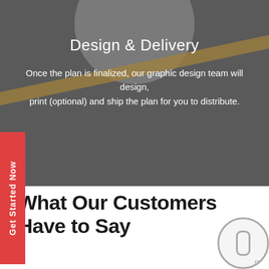Design & Delivery
Once the plan is finalized, our graphic design team will design, print (optional) and ship the plan for you to distribute.
[Figure (other): Red vertical tab on left side reading 'Get Started Now' in rotated white text]
What Our Customers Have to Say
[Figure (other): Decorative circle with inner rounded rectangle shape at bottom right corner, partially cropped]